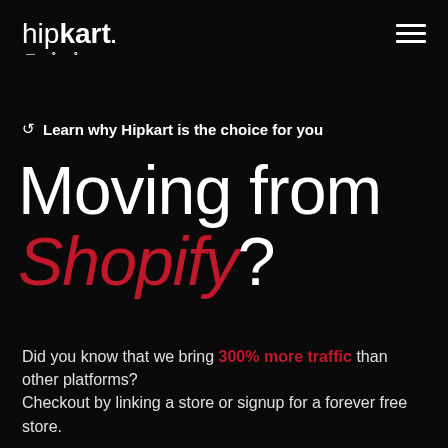hipkart
↺ Learn why Hipkart is the choice for you
Moving from Shopify?
Did you know that we bring 300% more traffic than other platforms?
Checkout by linking a store or signup for a forever free store.